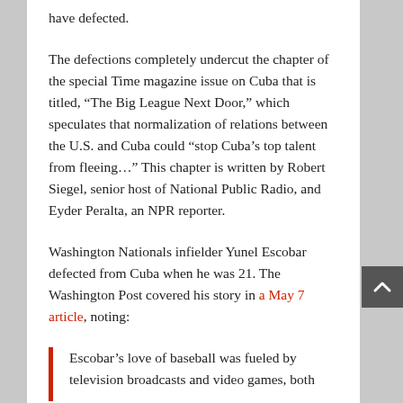have defected.
The defections completely undercut the chapter of the special Time magazine issue on Cuba that is titled, “The Big League Next Door,” which speculates that normalization of relations between the U.S. and Cuba could “stop Cuba’s top talent from fleeing…” This chapter is written by Robert Siegel, senior host of National Public Radio, and Eyder Peralta, an NPR reporter.
Washington Nationals infielder Yunel Escobar defected from Cuba when he was 21. The Washington Post covered his story in a May 7 article, noting:
Escobar’s love of baseball was fueled by television broadcasts and video games, both